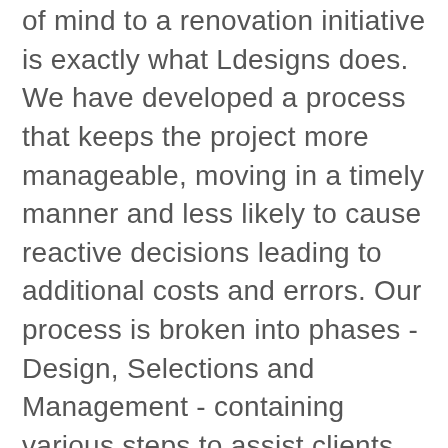of mind to a renovation initiative is exactly what Ldesigns does. We have developed a process that keeps the project more manageable, moving in a timely manner and less likely to cause reactive decisions leading to additional costs and errors. Our process is broken into phases - Design, Selections and Management - containing various steps to assist clients with achieving their goals without feeling overwhelmed.
We manage each stage to keep things focused and on track. With each phase and step clearly defined, work progresses seamlessly from one stage to the next. This keeps things evolving in a